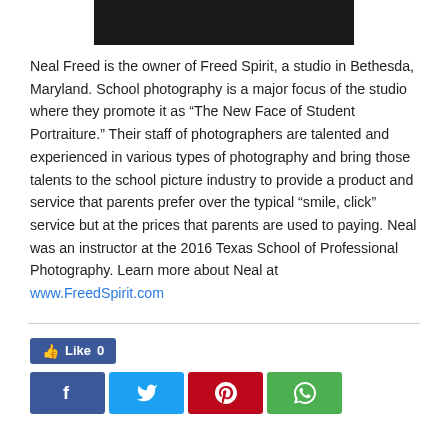[Figure (photo): Dark photo strip at top of page, partially visible portrait photo]
Neal Freed is the owner of Freed Spirit, a studio in Bethesda, Maryland. School photography is a major focus of the studio where they promote it as “The New Face of Student Portraiture.” Their staff of photographers are talented and experienced in various types of photography and bring those talents to the school picture industry to provide a product and service that parents prefer over the typical “smile, click” service but at the prices that parents are used to paying. Neal was an instructor at the 2016 Texas School of Professional Photography. Learn more about Neal at www.FreedSpirit.com
[Figure (infographic): Social media share buttons: Facebook Like button showing 0 likes, and four share buttons for Facebook, Twitter, Pinterest, and WhatsApp]